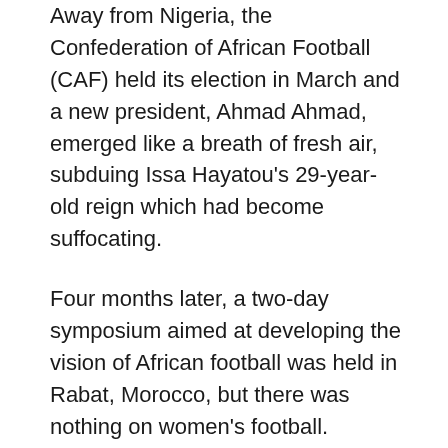Away from Nigeria, the Confederation of African Football (CAF) held its election in March and a new president, Ahmad Ahmad, emerged like a breath of fresh air, subduing Issa Hayatou's 29-year-old reign which had become suffocating.
Four months later, a two-day symposium aimed at developing the vision of African football was held in Rabat, Morocco, but there was nothing on women's football. Instead, another symposium which will be exclusively for women's football has been fixed for March next year – eight months after the first. On the surface this is not a big deal, but it is an attestation to the seeming pause mode on women's football in Africa which still longs for the wind of change to blow its way.
In the meantime, South Africa has set the pace in the